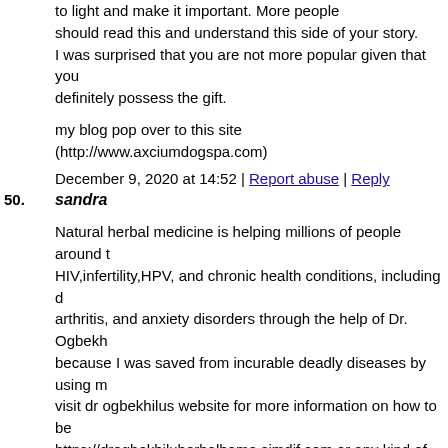to light and make it important. More people should read this and understand this side of your story. I was surprised that you are not more popular given that you definitely possess the gift.
my blog pop over to this site (http://www.axciumdogspa.com)
December 9, 2020 at 14:52 | Report abuse | Reply
50. sandra
Natural herbal medicine is helping millions of people around the world cure HIV,infertility,HPV, and chronic health conditions, including diabetes, arthritis, and anxiety disorders through the help of Dr. Ogbekhilus because I was saved from incurable deadly diseases by using medicine. visit dr ogbekhilus website for more information on how to be cure https://drogbekhiluherbalhome.simdif.com or any kind of health
December 9, 2020 at 17:05 | Report abuse | Reply
« Previous 1 2 3 4 5 6 7 8 9 10 11 12 13 14 15 16 17 18 19 20 21 22 36 37 38 39 40 41 42 43 44 45 46 47 48 49 50 51 52 53 54 55 56 57 70 71 72 73 74 75 76 77 78 79 80 81 82 83 84 85 86 87 88 89 90 91 103 104 105 106 107 108 109 110 111 112 113 114 115 116 117 118 128 129 130 131 132 133 134 135 136 137 138 139 140 141 142 143 152 153 154 155 156 157 158 159 160 161 162 163 Next »